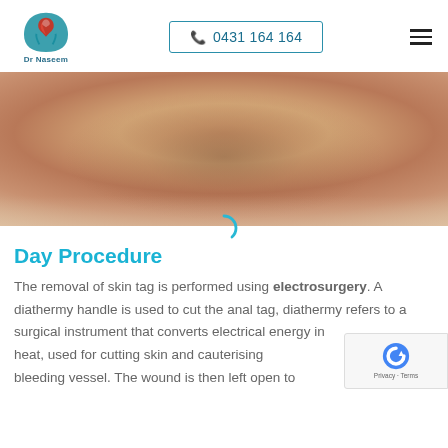[Figure (logo): Dr Naseem clinic logo — stylized teal and red emblem above text 'Dr Naseem']
[Figure (other): Phone number button with border: 📞 0431 164 164]
[Figure (other): Hamburger menu icon (three horizontal lines)]
[Figure (photo): Close-up medical photograph of skin/body area, warm beige/brown tones]
[Figure (other): Loading spinner arc in teal/cyan color]
Day Procedure
The removal of skin tag is performed using electrosurgery. A diathermy handle is used to cut the anal tag, diathermy refers to a surgical instrument that converts electrical energy in heat, used for cutting skin and cauterising bleeding vessel. The wound is then left open to